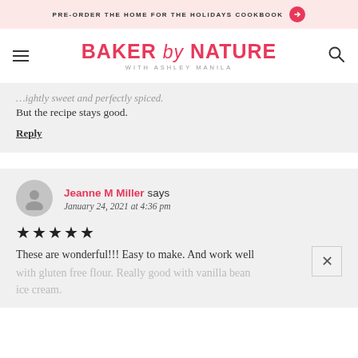PRE-ORDER THE HOME FOR THE HOLIDAYS COOKBOOK →
BAKER by NATURE WITH ASHLEY MANILA
But the recipe stays good.
Reply
Jeanne M Miller says
January 24, 2021 at 4:36 pm
★★★★★
These are wonderful!!! Easy to make. And work well with gluten free flour. Really good with vanilla bean ice cream.